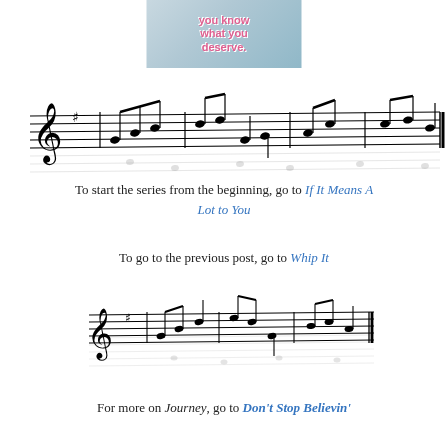[Figure (illustration): Cropped image with pink/magenta bold text on a blurred outdoor background reading 'you know what you deserve.']
[Figure (illustration): Sheet music notation showing a musical staff with treble clef, key signature with one sharp, and a sequence of notes forming a melody.]
To start the series from the beginning, go to If It Means A Lot to You
To go to the previous post, go to Whip It
[Figure (illustration): Sheet music notation showing a musical staff with treble clef, key signature with one sharp, and a sequence of notes forming a melody.]
For more on Journey, go to Don't Stop Believin'